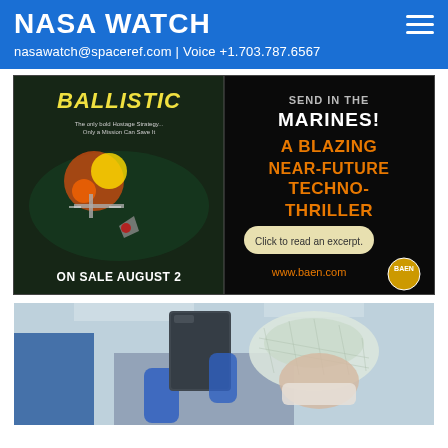NASA WATCH
nasawatch@spaceref.com | Voice +1.703.787.6567
[Figure (illustration): Advertisement for 'Ballistic' book by Baen publishing. Left half shows book cover with spacecraft explosion near ISS titled 'BALLISTIC'. Right half shows text: 'SEND IN THE MARINES! A BLAZING NEAR-FUTURE TECHNO-THRILLER' in white and orange on black background, with a button 'Click to read an excerpt.' and 'www.baen.com' with Baen logo. Bottom of left: 'ON SALE AUGUST 2'.]
[Figure (photo): Photo of a person wearing a hairnet/cleanroom cap, blue gloves, and mask, holding up a dark rectangular object (possibly a tile or panel) in what appears to be a cleanroom environment with fluorescent lighting in the background.]